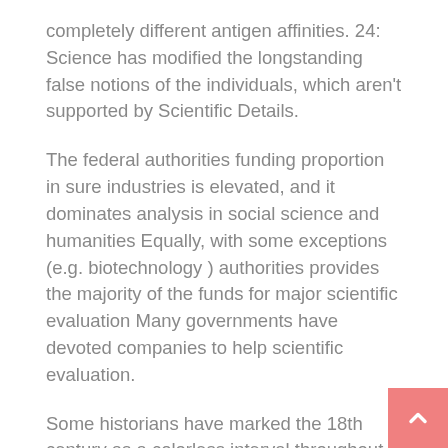completely different antigen affinities. 24: Science has modified the longstanding false notions of the individuals, which aren't supported by Scientific Details.
The federal authorities funding proportion in sure industries is elevated, and it dominates analysis in social science and humanities Equally, with some exceptions (e.g. biotechnology ) authorities provides the majority of the funds for major scientific evaluation Many governments have devoted companies to help scientific evaluation.
Some historians have marked the 18th century as a colorless interval throughout the historical past of science ; 78 however, the century noticed essential developments within the apply of medicine , arithmetic and physics ; the occasion of organic taxonomy ; a b new understanding of magnetism and electrical energy ;